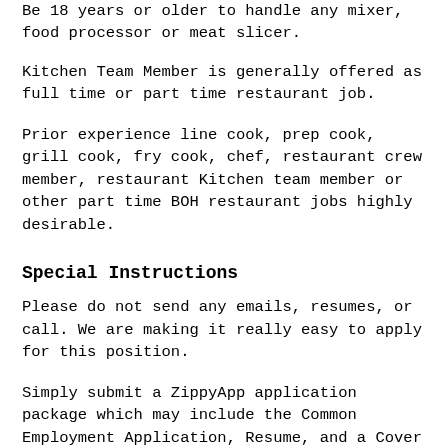Be 18 years or older to handle any mixer, food processor or meat slicer.
Kitchen Team Member is generally offered as full time or part time restaurant job.
Prior experience line cook, prep cook, grill cook, fry cook, chef, restaurant crew member, restaurant Kitchen team member or other part time BOH restaurant jobs highly desirable.
Special Instructions
Please do not send any emails, resumes, or call. We are making it really easy to apply for this position.
Simply submit a ZippyApp application package which may include the Common Employment Application, Resume, and a Cover Letter. In your Cover Letter, please write a short paragraph describing yourself